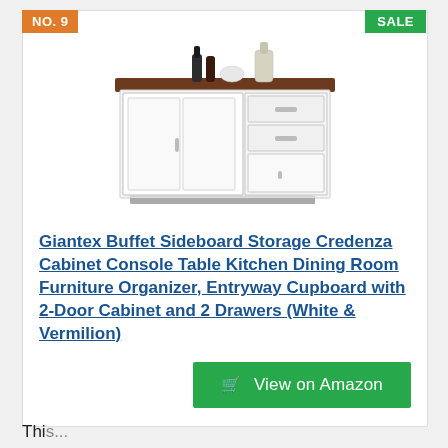[Figure (photo): White buffet sideboard cabinet with dark wood top, two doors on the left, two drawers and one door on the right, with wine bottles and decanter on top]
Giantex Buffet Sideboard Storage Credenza Cabinet Console Table Kitchen Dining Room Furniture Organizer, Entryway Cupboard with 2-Door Cabinet and 2 Drawers (White & Vermilion)
View on Amazon
This...